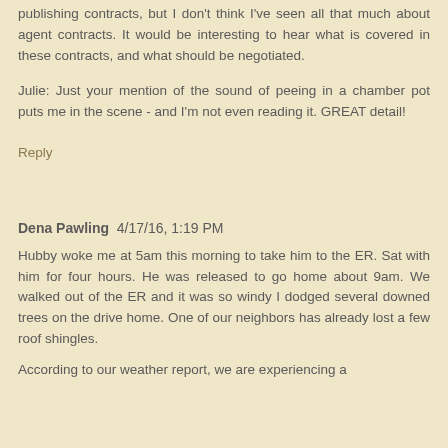publishing contracts, but I don't think I've seen all that much about agent contracts. It would be interesting to hear what is covered in these contracts, and what should be negotiated.
Julie: Just your mention of the sound of peeing in a chamber pot puts me in the scene - and I'm not even reading it. GREAT detail!
Reply
Dena Pawling  4/17/16, 1:19 PM
Hubby woke me at 5am this morning to take him to the ER. Sat with him for four hours. He was released to go home about 9am. We walked out of the ER and it was so windy I dodged several downed trees on the drive home. One of our neighbors has already lost a few roof shingles.
According to our weather report, we are experiencing a